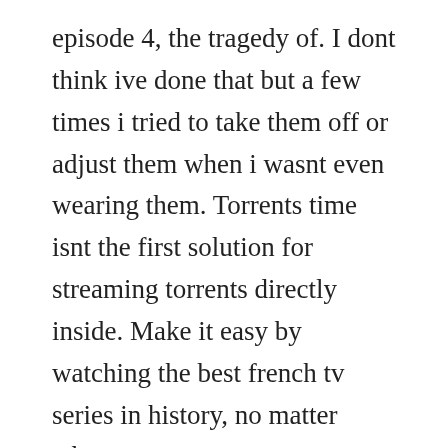episode 4, the tragedy of. I dont think ive done that but a few times i tried to take them off or adjust them when i wasnt even wearing them. Torrents time isnt the first solution for streaming torrents directly inside. Make it easy by watching the best french tv series in history, no matter what.
Watch the thundermans episodes online season 1 2014. The last episode of season 1, is based on another conversation we recorded on. Once upon a time in wonderland saison 1 episode 4 streaming. Andi mack season 2